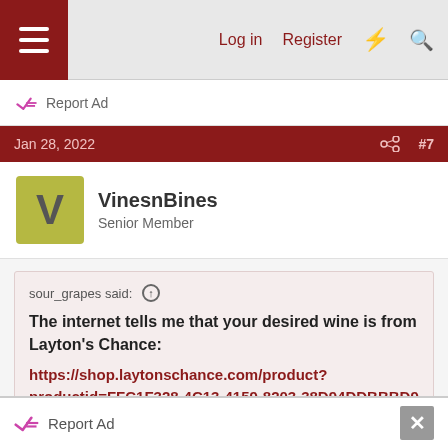Log in  Register
Report Ad
Jan 28, 2022  #7
VinesnBines
Senior Member
sour_grapes said: ↑
The internet tells me that your desired wine is from Layton's Chance:
https://shop.laytonschance.com/product?productid=FFC1F328-4C13-4159-8203-38D94DDBBBD9
It is evidently a high-alcohol, very sweet wine. I think from
Report Ad